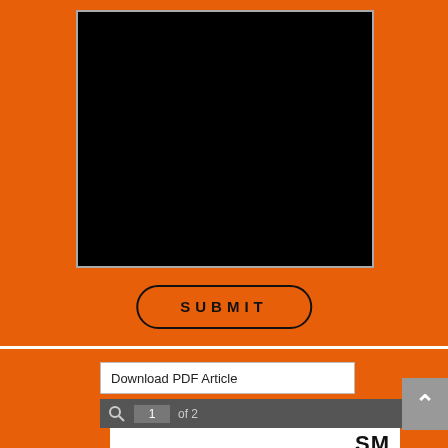Comments
[Figure (screenshot): Black textarea/input box for comments]
[Figure (screenshot): SUBMIT button with rounded border on orange background]
[Figure (screenshot): Download PDF Article button]
[Figure (screenshot): PDF viewer toolbar showing page 1 of 2]
[Figure (screenshot): Partial PDF preview showing document titled SM (Small Myers), with heading TERMINATION OF RESIDENTIAL TENANCIES AFTER THE COVID-19 and body text about temporary tenancy moratorium]